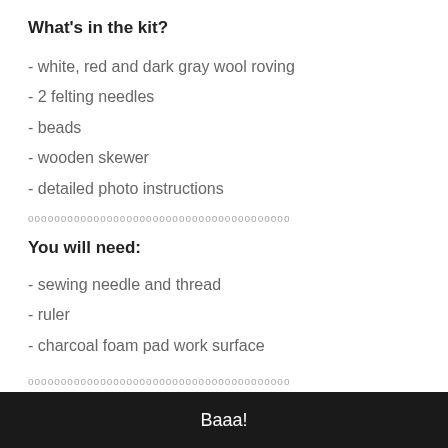What's in the kit?
- white, red and dark gray wool roving
- 2 felting needles
- beads
- wooden skewer
- detailed photo instructions
oooooooooooooooooooooooooooooooooooooooo
You will need:
- sewing needle and thread
- ruler
- charcoal foam pad work surface
oooooooooooooooooooooooooooooooooooooooo
Baaa!